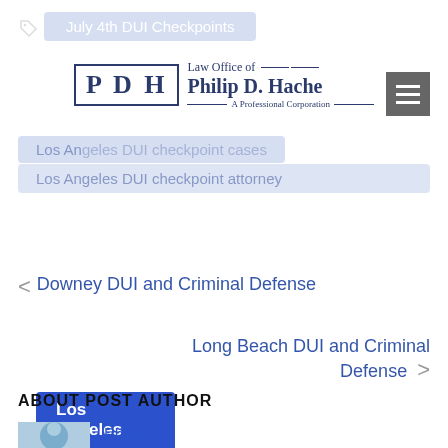Law Office of Philip D. Hache — A Professional Corporation
July 4th DUI Checkpoints
Los Angeles DUI checkpoint cases
Los Angeles DUI checkpoint attorney
Los Angeles DUI checkpoints
< Downey DUI and Criminal Defense
Long Beach DUI and Criminal Defense >
ABOUT POST AUTHOR
Philip